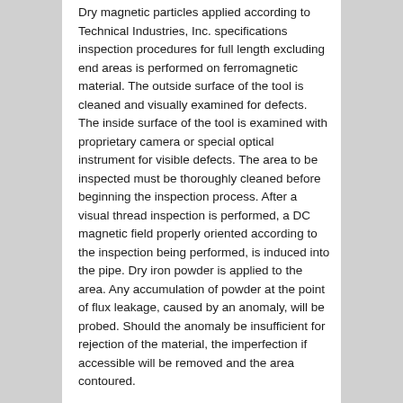Dry magnetic particles applied according to Technical Industries, Inc. specifications inspection procedures for full length excluding end areas is performed on ferromagnetic material. The outside surface of the tool is cleaned and visually examined for defects. The inside surface of the tool is examined with proprietary camera or special optical instrument for visible defects. The area to be inspected must be thoroughly cleaned before beginning the inspection process. After a visual thread inspection is performed, a DC magnetic field properly oriented according to the inspection being performed, is induced into the pipe. Dry iron powder is applied to the area. Any accumulation of powder at the point of flux leakage, caused by an anomaly, will be probed. Should the anomaly be insufficient for rejection of the material, the imperfection if accessible will be removed and the area contoured.